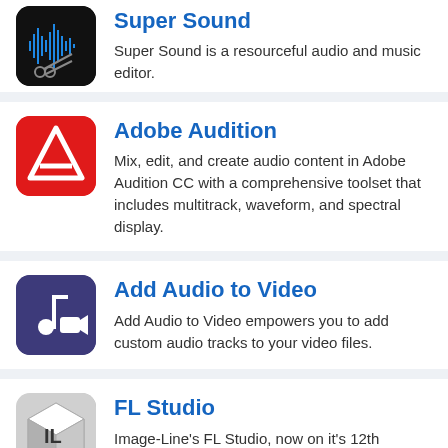Super Sound — Super Sound is a resourceful audio and music editor.
Adobe Audition — Mix, edit, and create audio content in Adobe Audition CC with a comprehensive toolset that includes multitrack, waveform, and spectral display.
Add Audio to Video — Add Audio to Video empowers you to add custom audio tracks to your video files.
FL Studio — Image-Line's FL Studio, now on it's 12th version, is a well-known music production suite and the most